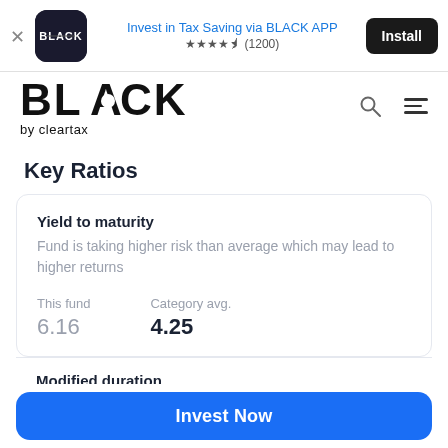[Figure (screenshot): Black by ClearTax app install ad banner with app icon, 'Invest in Tax Saving via BLACK APP' text, 4.5 star rating (1200 reviews), and Install button]
[Figure (logo): BLACK by cleartax logo with search and hamburger menu icons]
Key Ratios
Yield to maturity
Fund is taking higher risk than average which may lead to higher returns
| This fund | Category avg. |
| --- | --- |
| 6.16 | 4.25 |
Modified duration
Invest Now